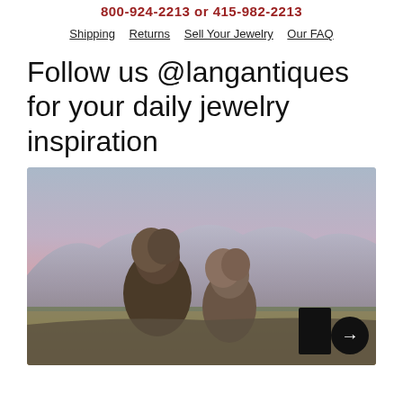800-924-2213 or 415-982-2213
Shipping   Returns   Sell Your Jewelry   Our FAQ
Follow us @langantiques for your daily jewelry inspiration
[Figure (photo): A couple seen from behind, leaning together, with a scenic mountain and sunset sky background.]